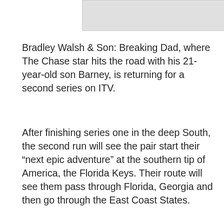[Figure (other): Gray advertisement banner placeholder at top of page]
Bradley Walsh & Son: Breaking Dad, where The Chase star hits the road with his 21-year-old son Barney, is returning for a second series on ITV.
After finishing series one in the deep South, the second run will see the pair start their “next epic adventure” at the southern tip of America, the Florida Keys. Their route will see them pass through Florida, Georgia and then go through the East Coast States.
Sponsored Links
[Figure (photo): Photo of a person working on a roof gutter, holding a tool, with red roof tiles and greenery visible in the background]